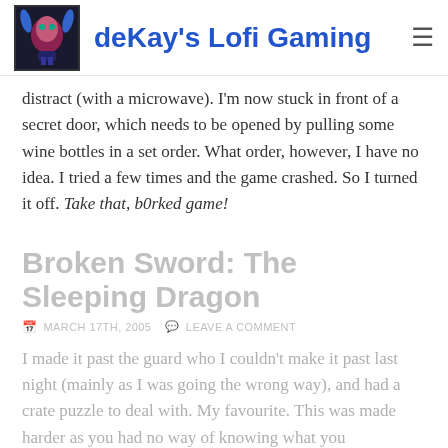deKay's Lofi Gaming
distract (with a microwave). I'm now stuck in front of a secret door, which needs to be opened by pulling some wine bottles in a set order. What order, however, I have no idea. I tried a few times and the game crashed. So I turned it off. Take that, b0rked game!
Broken Sword: The Sleeping Dragon
MARCH 17TH, 2005  LEAVE A COMMENT
I made it past the guard who I couldn't make it past last night (mainly as I was going the wrong way), and had a crate puzzle to deal with. My favourite. This was made harder as you had no way of knowing what you